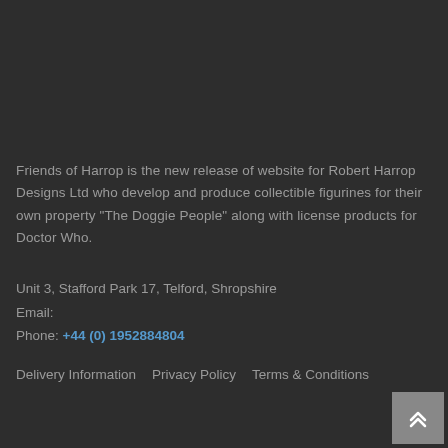Friends of Harrop is the new release of website for Robert Harrop Designs Ltd who develop and produce collectible figurines for their own property "The Doggie People" along with license products for Doctor Who.
Unit 3, Stafford Park 17, Telford, Shropshire
Email:
Phone: +44 (0) 1952884804
Delivery Information   Privacy Policy   Terms & Conditions